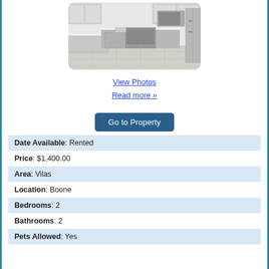[Figure (photo): Kitchen interior photo showing white/grey cabinets, stainless steel appliances including refrigerator, microwave, oven, dishwasher, light wood flooring, and white countertops]
View Photos
Read more »
Go to Property
| Date Available: Rented |
| Price: $1,400.00 |
| Area: Vilas |
| Location: Boone |
| Bedrooms: 2 |
| Bathrooms: 2 |
| Pets Allowed: Yes |